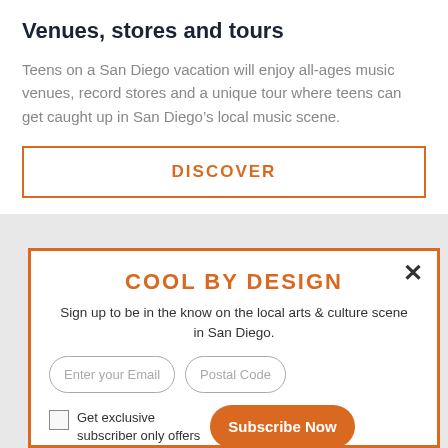Venues, stores and tours
Teens on a San Diego vacation will enjoy all-ages music venues, record stores and a unique tour where teens can get caught up in San Diego’s local music scene.
DISCOVER
COOL BY DESIGN
Sign up to be in the know on the local arts & culture scene in San Diego.
Enter your Email
Postal Code
Get exclusive subscriber only offers
Subscribe Now